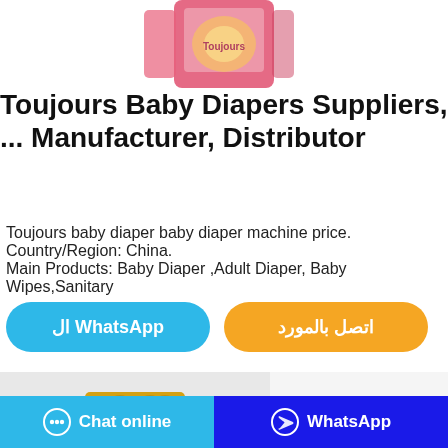[Figure (photo): Toujours baby diaper product box image, partially cropped at top]
Toujours Baby Diapers Suppliers, ... Manufacturer, Distributor
Toujours baby diaper baby diaper machine price. Country/Region: China.
Main Products: Baby Diaper ,Adult Diaper, Baby Wipes,Sanitary
[Figure (infographic): WhatsApp contact button (blue rounded) and اتصل بالمورد contact button (orange rounded)]
[Figure (photo): Bottom section with product box image (yellow/gold box) on grey background]
[Figure (infographic): Chat online button (light blue) and WhatsApp button (dark blue) at bottom of page]